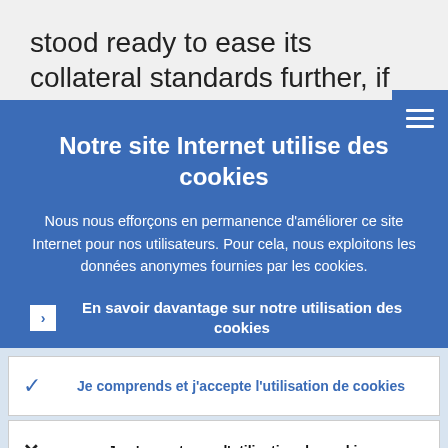stood ready to ease its collateral standards further, if needed.
[Figure (screenshot): Hamburger menu button icon (three horizontal white lines on blue background)]
Notre site Internet utilise des cookies
Nous nous efforçons en permanence d'améliorer ce site Internet pour nos utilisateurs. Pour cela, nous exploitons les données anonymes fournies par les cookies.
En savoir davantage sur notre utilisation des cookies
Je comprends et j'accepte l'utilisation de cookies
Je n'accepte pas l'utilisation de cookies